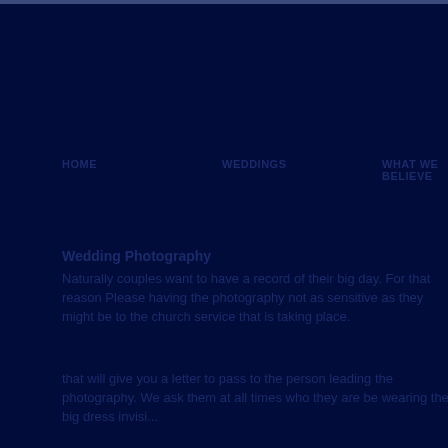HOME     WEDDINGS     WHAT WE BELIEVE
Wedding Photography
Naturally couples want to have a record of their big day. For that reason Please having the photography not as sensitive as they might be to the church service that is taking place.
that will give you a letter to pass to the person leading the photography. We ask them at all times who they are be wearing the big dress invisi...